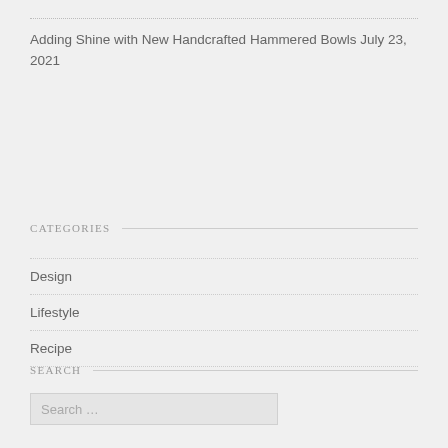Adding Shine with New Handcrafted Hammered Bowls July 23, 2021
CATEGORIES
Design
Lifestyle
Recipe
SEARCH
Search …